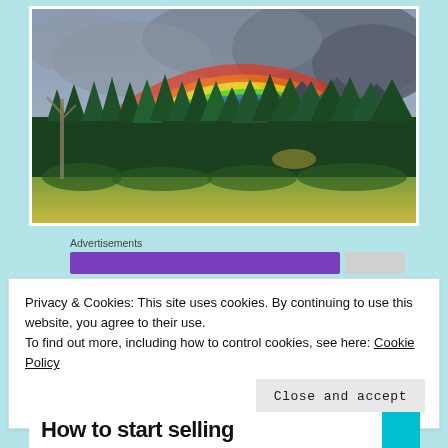[Figure (photo): Rainbow arching over a forest of evergreen trees with mountains in the background under a cloudy sky]
Advertisements
Privacy & Cookies: This site uses cookies. By continuing to use this website, you agree to their use.
To find out more, including how to control cookies, see here: Cookie Policy
Close and accept
How to start selling